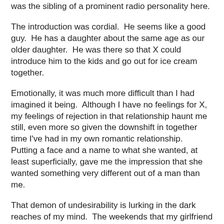was the sibling of a prominent radio personality here.
The introduction was cordial.  He seems like a good guy.  He has a daughter about the same age as our older daughter.  He was there so that X could introduce him to the kids and go out for ice cream together.
Emotionally, it was much more difficult than I had imagined it being.  Although I have no feelings for X, my feelings of rejection in that relationship haunt me still, even more so given the downshift in together time I've had in my own romantic relationship.  Putting a face and a name to what she wanted, at least superficially, gave me the impression that she wanted something very different out of a man than me.
That demon of undesirability is lurking in the dark reaches of my mind.  The weekends that my girlfriend and I normally would spend together are now just maybe a few hours together.  Dinner at a restaurant or sitting together at church.  I struggle with the feeling that while she says she is unhappy with it, she is really OK with it, or at least doesn't